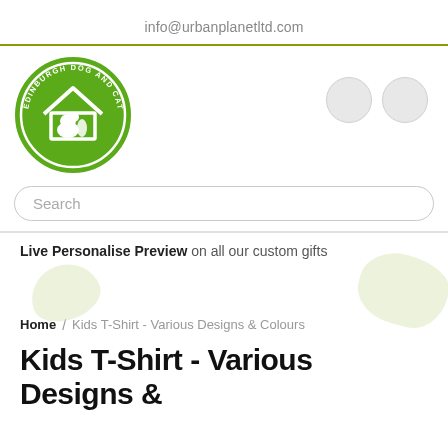info@urbanplanetltd.com
[Figure (logo): Edinburgh Dog and Cat Home circular green logo with dog and cat silhouette under a roof outline, white text around the border reading 'EDINBURGH DOG AND CAT HOME']
Search
Live Personalise Preview on all our custom gifts
Home / Kids T-Shirt - Various Designs & Colours
Kids T-Shirt - Various Designs &